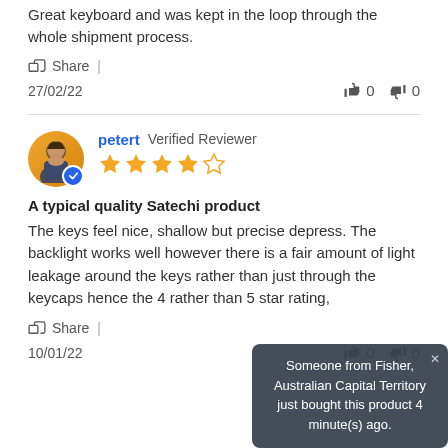Great keyboard and was kept in the loop through the whole shipment process.
Share |
27/02/22   👍 0   👎 0
[Figure (other): Reviewer avatar for petert with verified badge, and 4-star rating]
petert  Verified Reviewer
A typical quality Satechi product
The keys feel nice, shallow but precise depress. The backlight works well however there is a fair amount of light leakage around the keys rather than just through the keycaps hence the 4 rather than 5 star rating,
Share |
10/01/22   👍 0   👎 0
Someone from Fisher, Australian Capital Territory just bought this product 4 minute(s) ago.